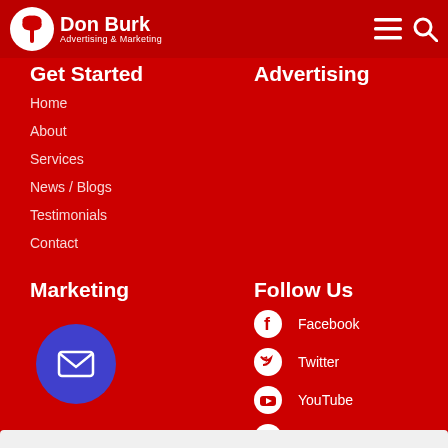Don Burk Advertising & Marketing
Get Started
Advertising
Home
About
Services
News / Blogs
Testimonials
Contact
Marketing
Follow Us
Facebook
Twitter
YouTube
Instagram